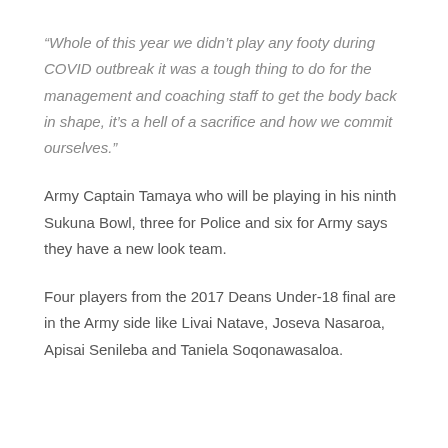“Whole of this year we didn’t play any footy during COVID outbreak it was a tough thing to do for the management and coaching staff to get the body back in shape, it’s a hell of a sacrifice and how we commit ourselves.”
Army Captain Tamaya who will be playing in his ninth Sukuna Bowl, three for Police and six for Army says they have a new look team.
Four players from the 2017 Deans Under-18 final are in the Army side like Livai Natave, Joseva Nasaroa, Apisai Senileba and Taniela Soqonawasaloa.